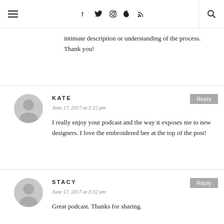Navigation header with hamburger menu, social icons (Facebook, Twitter, Instagram, Pinterest, RSS), and search icon
intimate description or understanding of the process. Thank you!
KATE
June 17, 2017 at 3:22 pm
I really enjoy your podcast and the way it exposes me to new designers. I love the embroidered bee at the top of the post!
STACY
June 17, 2017 at 3:32 pm
Great podcast. Thanks for sharing.